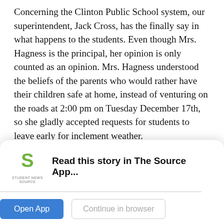Concerning the Clinton Public School system, our superintendent, Jack Cross, has the finally say in what happens to the students.  Even though Mrs. Hagness is the principal, her opinion is only counted as an opinion.  Mrs. Hagness understood the beliefs of the parents who would rather have their children safe at home, instead of venturing on the roads at 2:00 pm on Tuesday December 17th, so she gladly accepted requests for students to leave early for inclement weather.
After Tuesday, I emailed Mr. Cross about the decision-making process of a snow day.  Thankfully, he responded, giving me better insight in to how his decision is made. Mr. Cross said, "As you can all imagine, making a...
[Figure (logo): Student News Source logo - green S symbol with 'STUDENT NEWS SOURCE' text below]
Read this story in The Source App...
Open App
Continue in browser